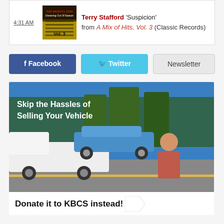4:31 AM — Terry Stafford 'Suspicion' from A Mix of Hits, Vol. 3 (Classic Records)
Facebook | Twitter | Newsletter
[Figure (photo): Advertisement: Skip the Hassles of Selling Your Vehicle. Donate it to KBCS instead! Photo shows a tow truck with a blue car being transported, and a smiling man holding car keys.]